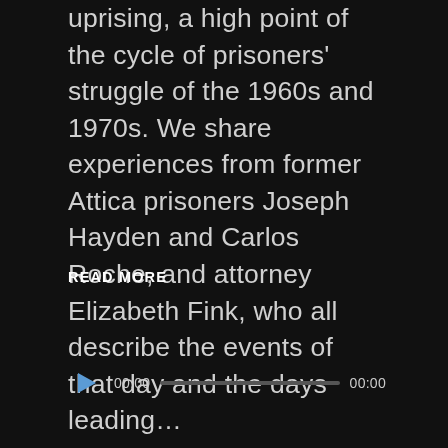uprising, a high point of the cycle of prisoners' struggle of the 1960s and 1970s. We share experiences from former Attica prisoners Joseph Hayden and Carlos Roche, and attorney Elizabeth Fink, who all describe the events of that day and the days leading...
READ MORE
[Figure (other): Audio player widget with play button (triangle), time display 00:00, progress bar, and end time 00:00]